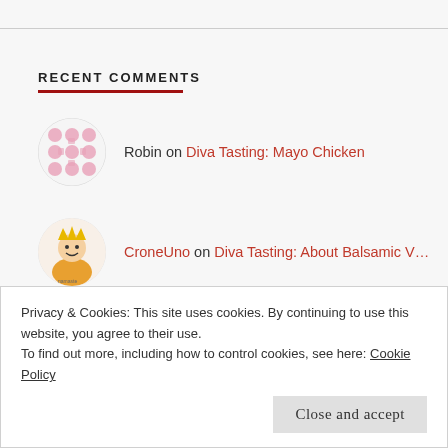RECENT COMMENTS
Robin on Diva Tasting: Mayo Chicken
CroneUno on Diva Tasting: About Balsamic V…
koolaidmoms on Diva Tasting: About Balsamic V…
Privacy & Cookies: This site uses cookies. By continuing to use this website, you agree to their use. To find out more, including how to control cookies, see here: Cookie Policy
Close and accept